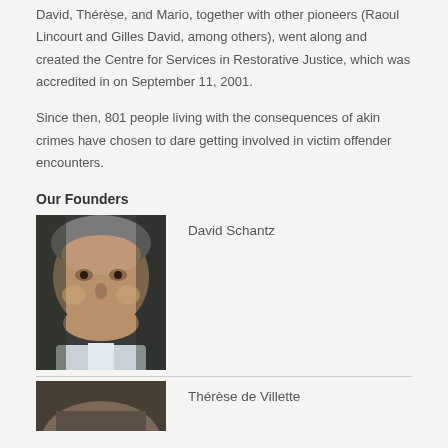David, Thérèse, and Mario, together with other pioneers (Raoul Lincourt and Gilles David, among others), went along and created the Centre for Services in Restorative Justice, which was accredited in on September 11, 2001.
Since then, 801 people living with the consequences of akin crimes have chosen to dare getting involved in victim offender encounters.
Our Founders
[Figure (photo): Portrait photo of David Schantz, an older man with grey hair, close-up face shot]
David Schantz
[Figure (photo): Portrait photo of Thérèse de Villette, partially visible at bottom of page]
Thérèse de Villette